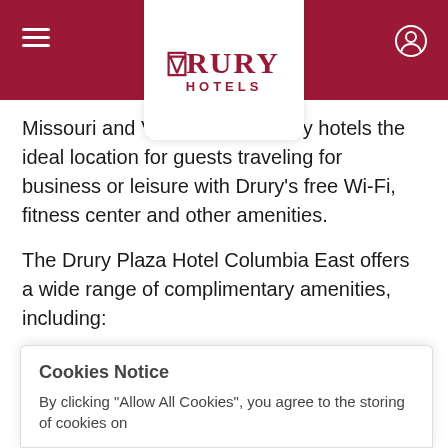Drury Hotels
Missouri and VA... Drury hotels the ideal location for guests traveling for business or leisure with Drury's free Wi-Fi, fitness center and other amenities.
The Drury Plaza Hotel Columbia East offers a wide range of complimentary amenities, including:
Wi-Fi throughout the hotel
Hot breakfast, including fresh pancakes, biscuits and gravy, eggs, yogurt and more
5:30 Kickback® reception including appetizers and beverages
24-hour business and fitness centers
Cookies Notice
By clicking "Allow All Cookies", you agree to the storing of cookies on